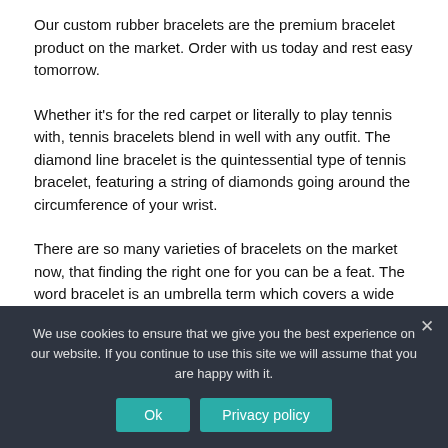Our custom rubber bracelets are the premium bracelet product on the market. Order with us today and rest easy tomorrow.
Whether it's for the red carpet or literally to play tennis with, tennis bracelets blend in well with any outfit. The diamond line bracelet is the quintessential type of tennis bracelet, featuring a string of diamonds going around the circumference of your wrist.
There are so many varieties of bracelets on the market now, that finding the right one for you can be a feat. The word bracelet is an umbrella term which covers a wide range of categories. Here we summarize the top 13 types of bracelets,
We use cookies to ensure that we give you the best experience on our website. If you continue to use this site we will assume that you are happy with it.